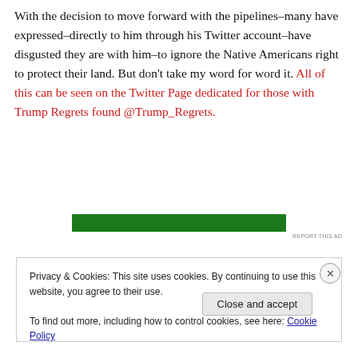With the decision to move forward with the pipelines–many have expressed–directly to him through his Twitter account–have disgusted they are with him–to ignore the Native Americans right to protect their land. But don't take my word for word it. All of this can be seen on the Twitter Page dedicated for those with Trump Regrets found @Trump_Regrets.
[Figure (other): Green advertisement banner rectangle]
REPORT THIS AD
Privacy & Cookies: This site uses cookies. By continuing to use this website, you agree to their use.
To find out more, including how to control cookies, see here: Cookie Policy